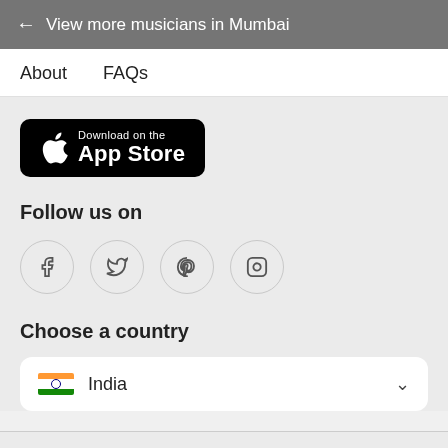← View more musicians in Mumbai
About    FAQs
[Figure (logo): Download on the App Store button with Apple logo]
Follow us on
[Figure (infographic): Social media icons: Facebook, Twitter, Pinterest, Instagram — circular outlined buttons]
Choose a country
[Figure (infographic): Country dropdown showing Indian flag and text 'India' with a chevron]
[Figure (logo): Partial logo text at bottom of page]